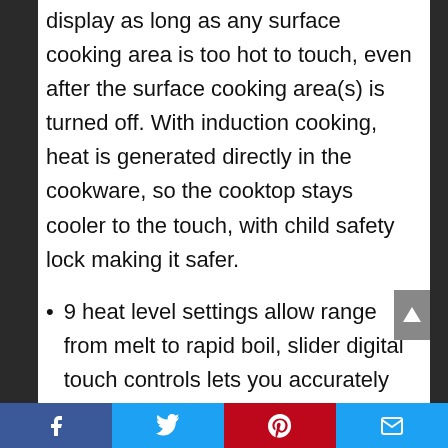display as long as any surface cooking area is too hot to touch, even after the surface cooking area(s) is turned off. With induction cooking, heat is generated directly in the cookware, so the cooktop stays cooler to the touch, with child safety lock making it safer.
9 heat level settings allow range from melt to rapid boil, slider digital touch controls lets you accurately control your heating and enjoy an Easy-to-clean surface. Red LED display with black glass surface helps achieve a modern look that